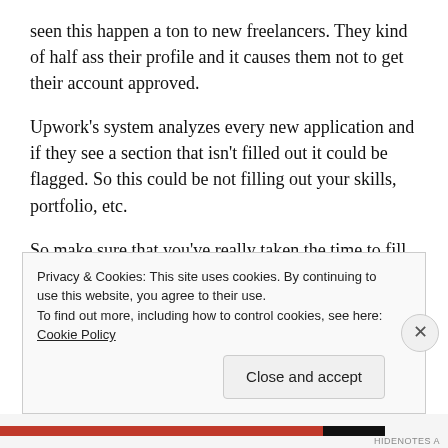seen this happen a ton to new freelancers. They kind of half ass their profile and it causes them not to get their account approved.
Upwork's system analyzes every new application and if they see a section that isn't filled out it could be flagged. So this could be not filling out your skills, portfolio, etc.
So make sure that you've really taken the time to fill out your profile and made sure that everything is filled out.
The key to setting up a good profile is filling it out in full
Privacy & Cookies: This site uses cookies. By continuing to use this website, you agree to their use.
To find out more, including how to control cookies, see here: Cookie Policy
Close and accept